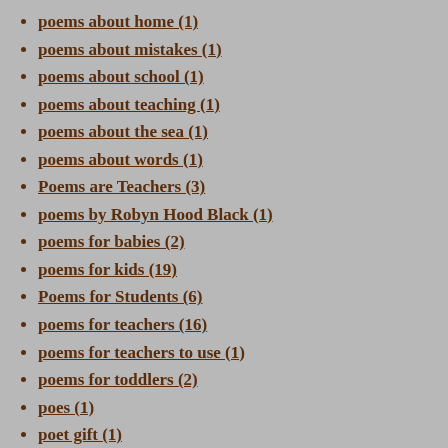poems about home (1)
poems about mistakes (1)
poems about school (1)
poems about teaching (1)
poems about the sea (1)
poems about words (1)
Poems are Teachers (3)
poems by Robyn Hood Black (1)
poems for babies (2)
poems for kids (19)
Poems for Students (6)
poems for teachers (16)
poems for teachers to use (1)
poems for toddlers (2)
poes (1)
poet gift (1)